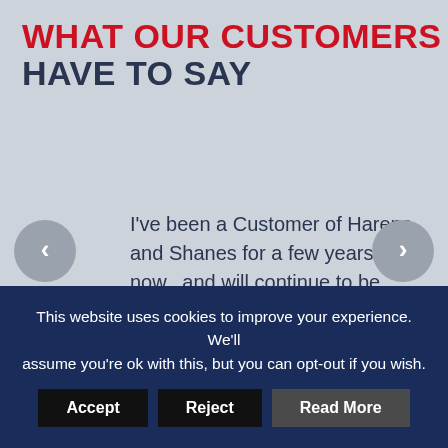WHAT OUR CUSTOMERS HAVE TO SAY
I've been a Customer of Harena and Shanes for a few years now.. and will continue to be... Such great people from the person who greets me at the door, or the guys on the floor in the workshop, prompt service, excellent advice. Pretty much
This website uses cookies to improve your experience. We'll assume you're ok with this, but you can opt-out if you wish.
Accept | Reject | Read More